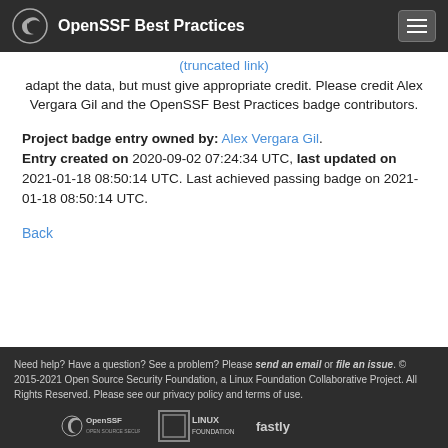OpenSSF Best Practices
adapt the data, but must give appropriate credit. Please credit Alex Vergara Gil and the OpenSSF Best Practices badge contributors.
Project badge entry owned by: Alex Vergara Gil. Entry created on 2020-09-02 07:24:34 UTC, last updated on 2021-01-18 08:50:14 UTC. Last achieved passing badge on 2021-01-18 08:50:14 UTC.
Back
Need help? Have a question? See a problem? Please send an email or file an issue. © 2015-2021 Open Source Security Foundation, a Linux Foundation Collaborative Project. All Rights Reserved. Please see our privacy policy and terms of use.